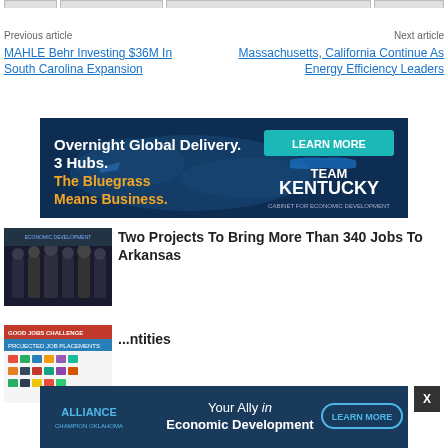Previous article
Next article
MAHLE Behr Investing $36M In South Carolina Expansion
Massachusetts, California Continue As Energy Efficiency Leaders
[Figure (infographic): Advertisement banner: 'Overnight Global Delivery. 3 Hubs. The Bluegrass Means Business.' with LEARN MORE button and TEAM KENTUCKY Cabinet for Economic Development logo on dark blue background.]
[Figure (photo): Group of men in suits standing in front of a banner/sign at an event.]
Two Projects To Bring More Than 340 Jobs To Arkansas
[Figure (infographic): Good Jobs Challenge projected job placements chart/graphic thumbnail.]
...ntities
[Figure (infographic): Bottom overlay advertisement: ALLIANCE - Your Ally in Economic Development with LEARN MORE button.]